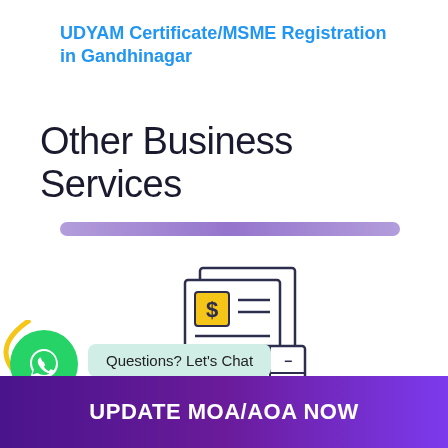UDYAM Certificate/MSME Registration in Gandhinagar
Other Business Services
[Figure (illustration): Illustration of financial documents with a dollar sign invoice and a calculator]
[Figure (infographic): WhatsApp chat button with green circle icon and 'Questions? Let's Chat' bubble]
UPDATE MOA/AOA NOW